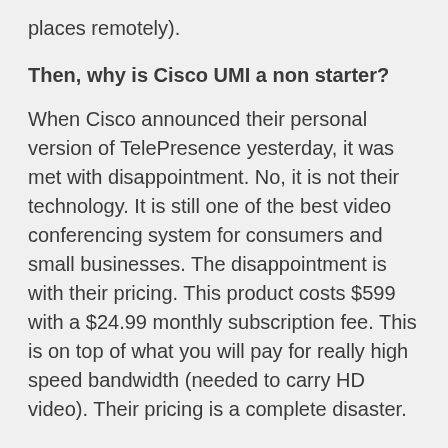places remotely).
Then, why is Cisco UMI a non starter?
When Cisco announced their personal version of TelePresence yesterday, it was met with disappointment. No, it is not their technology. It is still one of the best video conferencing system for consumers and small businesses. The disappointment is with their pricing. This product costs $599 with a $24.99 monthly subscription fee. This is on top of what you will pay for really high speed bandwidth (needed to carry HD video). Their pricing is a complete disaster.
Just take a moment and think about how Apple introduced iPad. When they introduced a new kind of device for the first time to the market, they priced it just right to get a kick start. When people were expecting a tablet device for $999, they released one at $499. I would